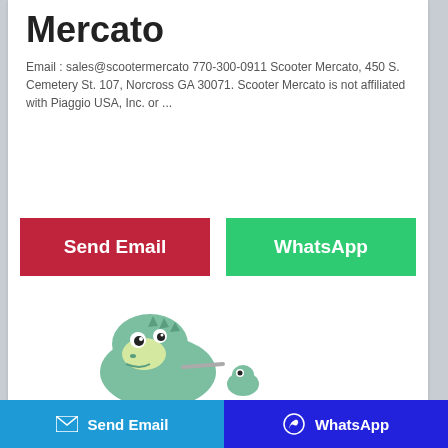Mercato
Email : sales@scootermercato 770-300-0911 Scooter Mercato, 450 S. Cemetery St. 107, Norcross GA 30071. Scooter Mercato is not affiliated with Piaggio USA, Inc. or ...
[Figure (illustration): Send Email button (red/crimson background, white text) and WhatsApp button (green background, white text)]
[Figure (illustration): Cartoon dinosaur plush toy illustration at bottom of card]
Send Email   WhatsApp